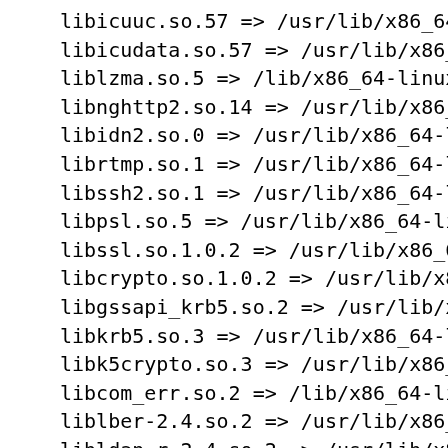libicuuc.so.57 => /usr/lib/x86_64-l
libicudata.so.57 => /usr/lib/x86_64
liblzma.so.5 => /lib/x86_64-linux-g
libnghttp2.so.14 => /usr/lib/x86_64
libidn2.so.0 => /usr/lib/x86_64-lin
librtmp.so.1 => /usr/lib/x86_64-lin
libssh2.so.1 => /usr/lib/x86_64-lin
libpsl.so.5 => /usr/lib/x86_64-linu
libssl.so.1.0.2 => /usr/lib/x86_64-
libcrypto.so.1.0.2 => /usr/lib/x86_
libgssapi_krb5.so.2 => /usr/lib/x86
libkrb5.so.3 => /usr/lib/x86_64-lin
libk5crypto.so.3 => /usr/lib/x86_64
libcom_err.so.2 => /lib/x86_64-linu
liblber-2.4.so.2 => /usr/lib/x86_64
libldap_r-2.4.so.2 => /usr/lib/x86_
libstdc++.so.6 => /usr/lib/x86_64-l
libgcc_s.so.1 => /lib/x86_64-linux-
libunistring.so.0 => /usr/lib/x86_6